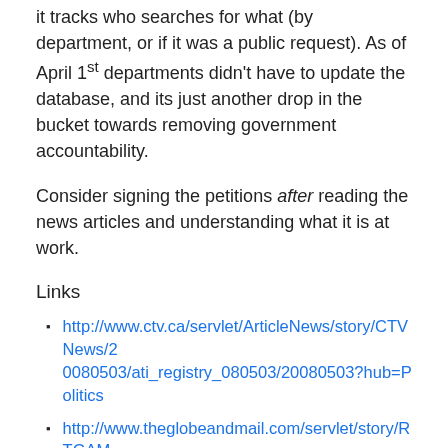it tracks who searches for what (by department, or if it was a public request). As of April 1st departments didn't have to update the database, and its just another drop in the bucket towards removing government accountability.
Consider signing the petitions after reading the news articles and understanding what it is at work.
Links
http://www.ctv.ca/servlet/ArticleNews/story/CTVNews/20080503/ati_registry_080503/20080503?hub=Politics
http://www.theglobeandmail.com/servlet/story/RTGAM.20080505.wqp_foi0505/BNStory/National/home
http://www.cbc.ca/canada/story/2008/05/02/cairs.html
http://www.ipetitions.com/petition/saveCAIRS/index.html